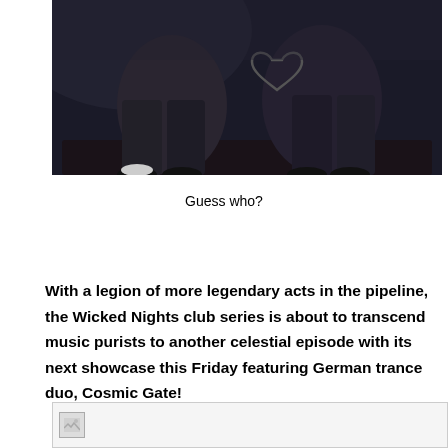[Figure (photo): Black and white photo of two people seated on a dark sofa/couch against a dark background, legs visible, one person making a heart shape with their hands]
Guess who?
With a legion of more legendary acts in the pipeline, the Wicked Nights club series is about to transcend music purists to another celestial episode with its next showcase this Friday featuring German trance duo, Cosmic Gate!
[Figure (photo): Broken/placeholder image at the bottom of the page]